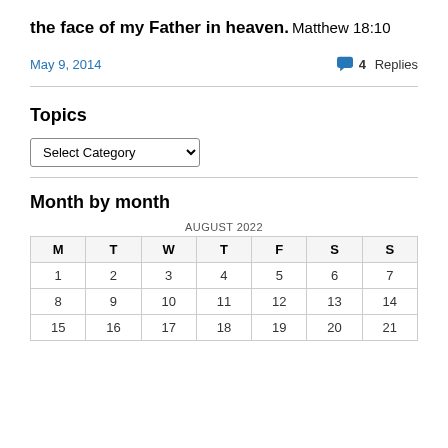the face of my Father in heaven.
Matthew 18:10
May 9, 2014
4 Replies
Topics
Select Category
Month by month
| M | T | W | T | F | S | S |
| --- | --- | --- | --- | --- | --- | --- |
| 1 | 2 | 3 | 4 | 5 | 6 | 7 |
| 8 | 9 | 10 | 11 | 12 | 13 | 14 |
| 15 | 16 | 17 | 18 | 19 | 20 | 21 |